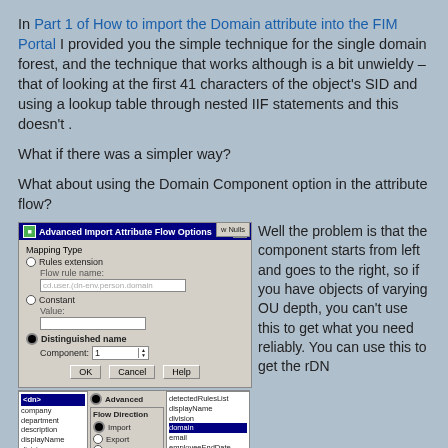In Part 1 of How to import the Domain attribute into the FIM Portal I provided you the simple technique for the single domain forest, and the technique that works although is a bit unwieldy – that of looking at the first 41 characters of the object's SID and using a lookup table through nested IIF statements and this doesn't .
What if there was a simpler way?
What about using the Domain Component option in the attribute flow?
[Figure (screenshot): Advanced Import Attribute Flow Options dialog showing Mapping Type options (Rules extension, Constant, Distinguished name selected) with Component field set to 1, and below it an attribute flow grid showing domain highlighted in the right panel, with Flow Direction set to Import.]
Well the problem is that the component starts from left and goes to the right, so if you have objects of varying OU depth, you can't use this to get what you need reliably. You can use this to get the rDN